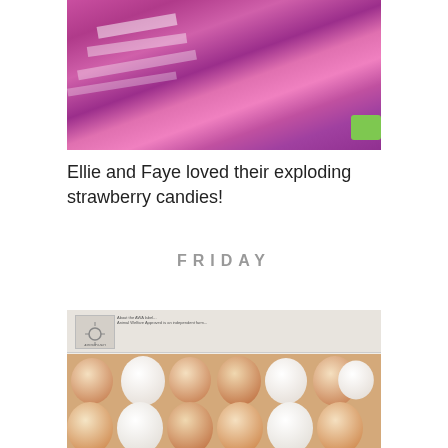[Figure (photo): Top portion of a photo showing a child or person in a colorful pink/purple patterned clothing, close-up crop showing fabric and partial face/head]
Ellie and Faye loved their exploding strawberry candies!
FRIDAY
[Figure (photo): Open egg carton showing an assortment of brown and white eggs, with Animal Welfare Approved label visible on the inside lid]